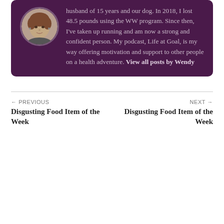[Figure (photo): Circular portrait photo of a woman with short brown hair, on a dark purple background inside the author bio box.]
husband of 15 years and our dog. In 2018, I lost 48.5 pounds using the WW program. Since then, I've taken up running and am now a strong and confident person. My podcast, Life at Goal, is my way offering motivation and support to other people on a health adventure. View all posts by Wendy
← PREVIOUS
Disgusting Food Item of the Week
NEXT →
Disgusting Food Item of the Week